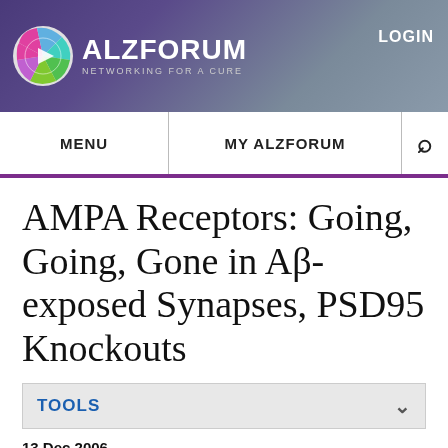[Figure (logo): ALZFORUM logo with colored sphere and text 'NETWORKING FOR A CURE', LOGIN button top right]
MENU   MY ALZFORUM   [search icon]
AMPA Receptors: Going, Going, Gone in Aβ-exposed Synapses, PSD95 Knockouts
TOOLS
13 Dec 2006
One of the earliest signs of amyloid-β (Aβ) toxicity is synaptic loss, and recent work from a number of labs has shown that Aβ causes depressed synaptic transmission due